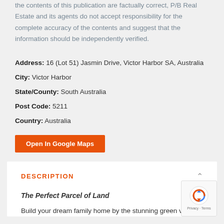the contents of this publication are factually correct, P/B Real Estate and its agents do not accept responsibility for the complete accuracy of the contents and suggest that the information should be independently verified.
Address: 16 (Lot 51) Jasmin Drive, Victor Harbor SA, Australia
City: Victor Harbor
State/County: South Australia
Post Code: 5211
Country: Australia
Open In Google Maps
DESCRIPTION
The Perfect Parcel of Land
Build your dream family home by the stunning green vistas